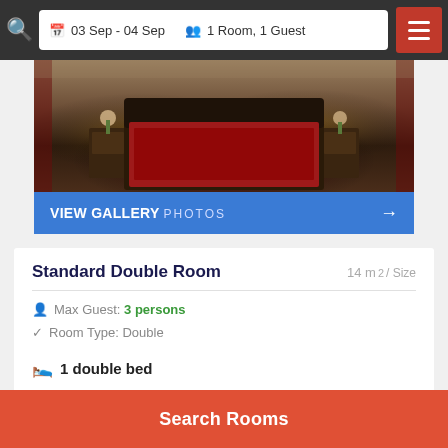03 Sep - 04 Sep  1 Room, 1 Guest
[Figure (photo): Hotel room interior with dark wooden furniture, red patterned bedding, and warm lighting]
VIEW GALLERY  PHOTOS →
Standard Double Room
14 m² / Size
Max Guest: 3 persons
Room Type: Double
1 double bed
Search Price ▶
Search Rooms